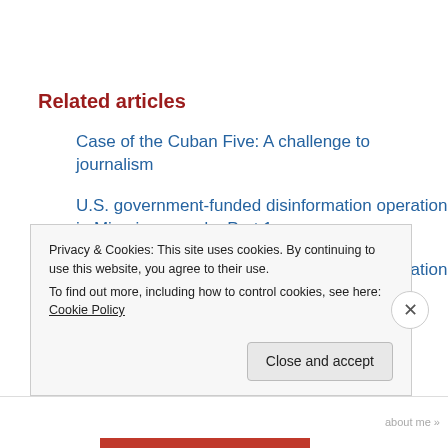Related articles
Case of the Cuban Five: A challenge to journalism
U.S. government-funded disinformation operation in Miami exposed – Part 1
U.S. government-funded disinformation operation in Miami exposed – Part 2
Privacy & Cookies: This site uses cookies. By continuing to use this website, you agree to their use.
To find out more, including how to control cookies, see here: Cookie Policy